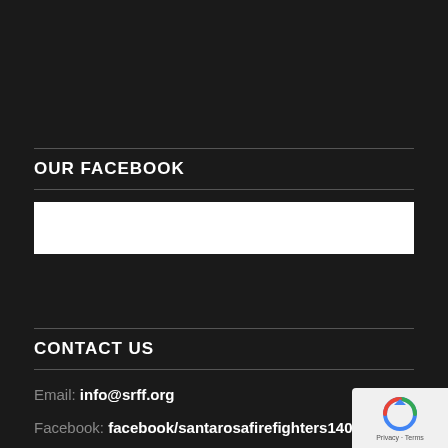OUR FACEBOOK
[Figure (other): White embedded Facebook widget box]
CONTACT US
Email: info@srff.org
Facebook: facebook/santarosafirefighters1401
[Figure (other): reCAPTCHA badge with Privacy and Terms text]